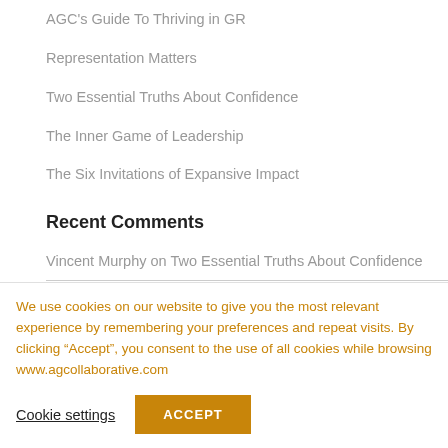AGC's Guide To Thriving in GR
Representation Matters
Two Essential Truths About Confidence
The Inner Game of Leadership
The Six Invitations of Expansive Impact
Recent Comments
Vincent Murphy on Two Essential Truths About Confidence
We use cookies on our website to give you the most relevant experience by remembering your preferences and repeat visits. By clicking “Accept”, you consent to the use of all cookies while browsing www.agcollaborative.com